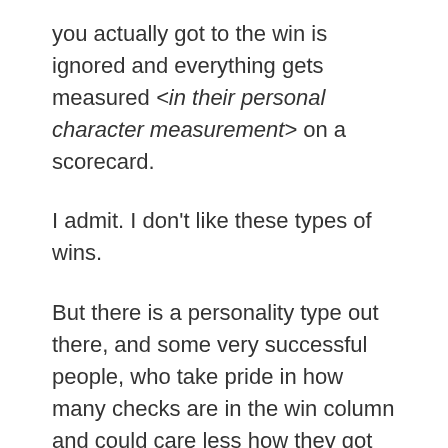you actually got to the win is ignored and everything gets measured <in their personal character measurement> on a scorecard.
I admit. I don't like these types of wins.
But there is a personality type out there, and some very successful people, who take pride in how many checks are in the win column and could care less how they got to them.
To these people all wins are quality wins